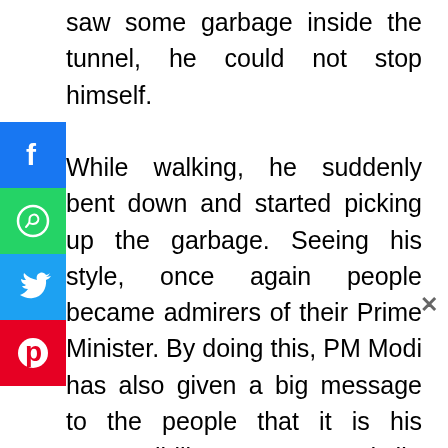saw some garbage inside the tunnel, he could not stop himself.

While walking, he suddenly bent down and started picking up the garbage. Seeing his style, once again people became admirers of their Prime Minister. By doing this, PM Modi has also given a big message to the people that it is his responsibility not to spread dirt in these underpasses. This video of the Prime Minister picking up garbage is becoming very viral on
[Figure (infographic): Social media share buttons: Facebook (blue), WhatsApp (green), Twitter (blue), Pinterest (red)]